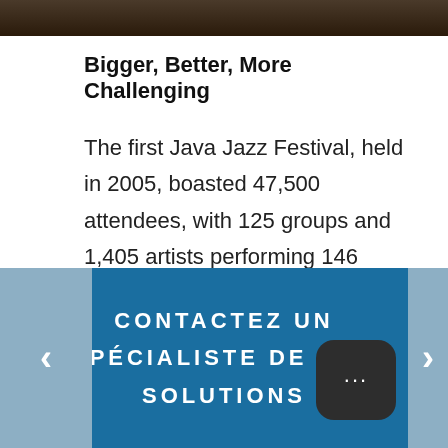[Figure (photo): Top strip of a photo showing people at what appears to be a concert or performance setting]
Bigger, Better, More Challenging
The first Java Jazz Festival, held in 2005, boasted 47,500 attendees, with 125 groups and 1,405 artists performing 146 shows on one main stage and several smaller ones
CONTACTEZ UN SPÉCIALISTE DE NOS SOLUTIONS